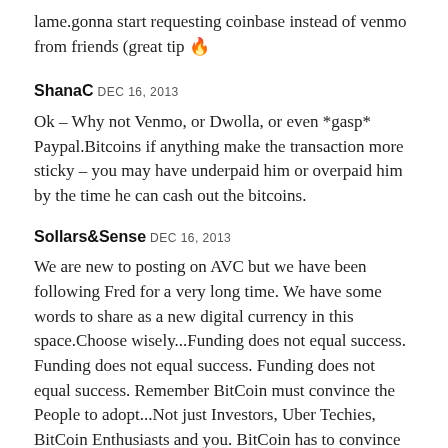lame.gonna start requesting coinbase instead of venmo from friends (great tip 🔥
ShanaC DEC 16, 2013
Ok – Why not Venmo, or Dwolla, or even *gasp* Paypal.Bitcoins if anything make the transaction more sticky – you may have underpaid him or overpaid him by the time he can cash out the bitcoins.
Sollars&Sense DEC 16, 2013
We are new to posting on AVC but we have been following Fred for a very long time. We have some words to share as a new digital currency in this space.Choose wisely...Funding does not equal success. Funding does not equal success. Funding does not equal success. Remember BitCoin must convince the People to adopt...Not just Investors, Uber Techies, BitCoin Enthusiasts and you. BitCoin has to convince regular